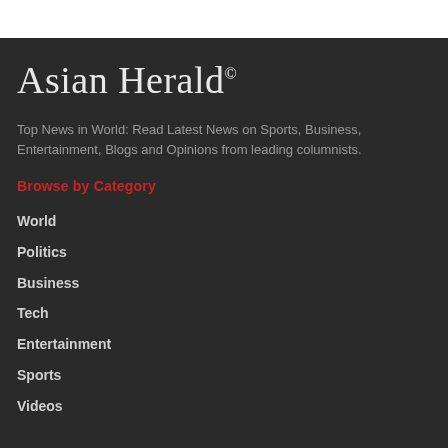Asian Herald®
Top News in World: Read Latest News on Sports, Business, Entertainment, Blogs and Opinions from leading columnists.
Browse by Category
World
Politics
Business
Tech
Entertainment
Sports
Videos